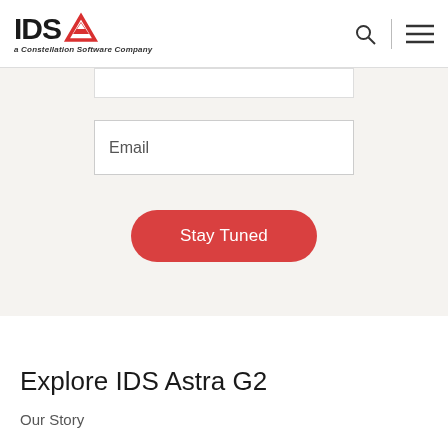[Figure (logo): IDS logo with red arrow/triangle icon and tagline 'a Constellation Software Company']
Email
Stay Tuned
Explore IDS Astra G2
Our Story